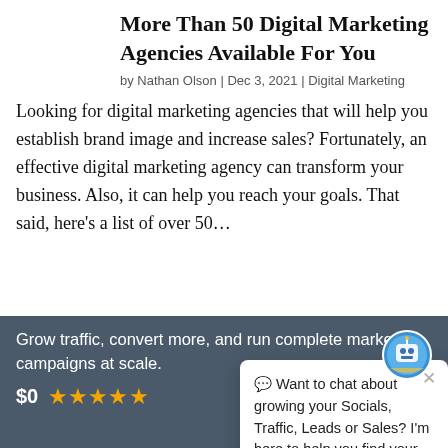More Than 50 Digital Marketing Agencies Available For You
by Nathan Olson | Dec 3, 2021 | Digital Marketing
Looking for digital marketing agencies that will help you establish brand image and increase sales? Fortunately, an effective digital marketing agency can transform your business. Also, it can help you reach your goals. That said, here's a list of over 50...
[Figure (photo): Photo of a tablet/laptop on a dark blue desk showing a Google Search Console or analytics dashboard]
[Figure (screenshot): Chat popup overlay with robot/bot icon asking: Want to chat about growing your Socials, Traffic, Leads or Sales? I'm here to help you find your way.]
Grow traffic, convert more, and run complete marketing campaigns at scale.
$0  ★★★★★
Get Free Ac[count]